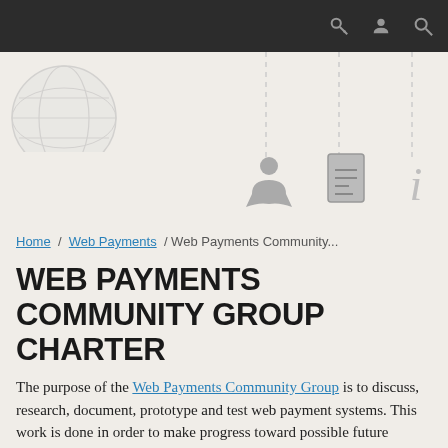[Figure (screenshot): Top dark navigation bar with key, user, and search icons on the right]
[Figure (logo): Circular globe/world logo partially visible in top left]
[Figure (infographic): Navigation icon row with three icons (person/member, document, info italic i) separated by dashed vertical lines]
Home / Web Payments / Web Payments Community...
WEB PAYMENTS COMMUNITY GROUP CHARTER
The purpose of the Web Payments Community Group is to discuss, research, document, prototype and test web payment systems. This work is done in order to make progress toward possible future standardization and interoperability of these solutions. The goal of this Group is